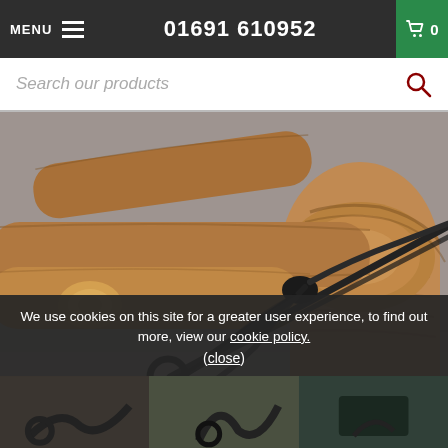MENU  01691 610952  0
Search our products
[Figure (photo): Black wrought iron fireplace tongs resting against wooden logs on a stone hearth surface]
We use cookies on this site for a greater user experience, to find out more, view our cookie policy. (close)
[Figure (photo): Bottom thumbnail row showing fireplace accessories]